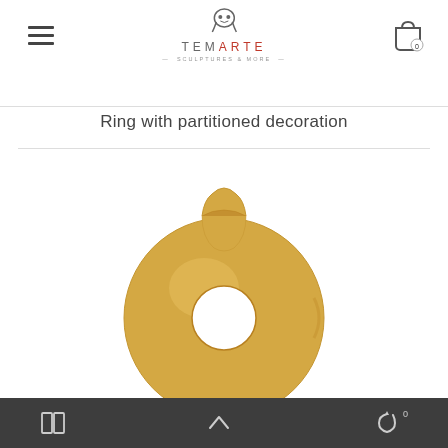TEMARTE — SCULPTURES & MORE
Ring with partitioned decoration
[Figure (photo): Gold ceramic ring-shaped vase/decoration with a circular hole in the center and a small curved neck at the top, photographed on white background]
Navigation bar with layout, scroll-up, and cart icons